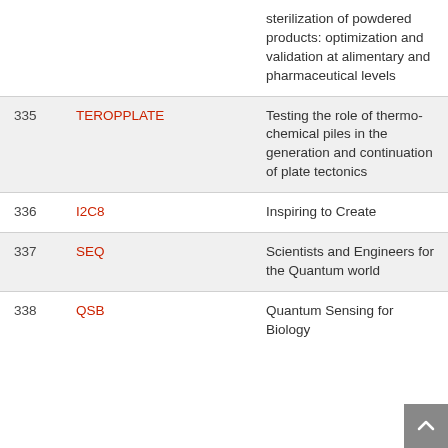| # | Code | Description |
| --- | --- | --- |
|  |  | sterilization of powdered products: optimization and validation at alimentary and pharmaceutical levels |
| 335 | TEROPPLATE | Testing the role of thermo-chemical piles in the generation and continuation of plate tectonics |
| 336 | I2C8 | Inspiring to Create |
| 337 | SEQ | Scientists and Engineers for the Quantum world |
| 338 | QSB | Quantum Sensing for Biology |